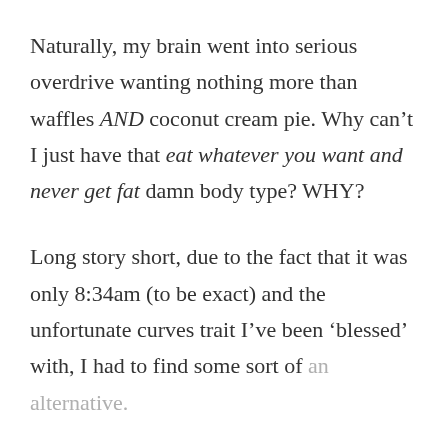Naturally, my brain went into serious overdrive wanting nothing more than waffles AND coconut cream pie. Why can't I just have that eat whatever you want and never get fat damn body type? WHY?
Long story short, due to the fact that it was only 8:34am (to be exact) and the unfortunate curves trait I've been 'blessed' with, I had to find some sort of an alternative.